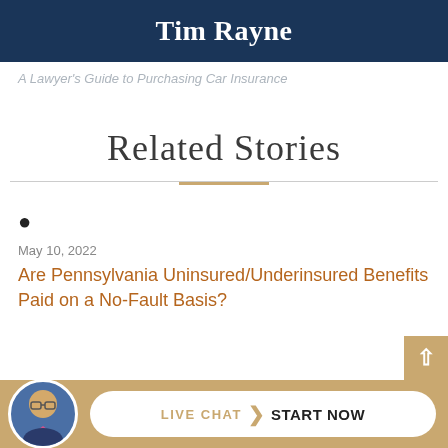Tim Rayne
A Lawyer's Guide to Purchasing Car Insurance
Related Stories
May 10, 2022
Are Pennsylvania Uninsured/Underinsured Benefits Paid on a No-Fault Basis?
[Figure (other): Live chat bar with lawyer avatar photo, pill-shaped button with LIVE CHAT and START NOW text]
LIVE CHAT  START NOW